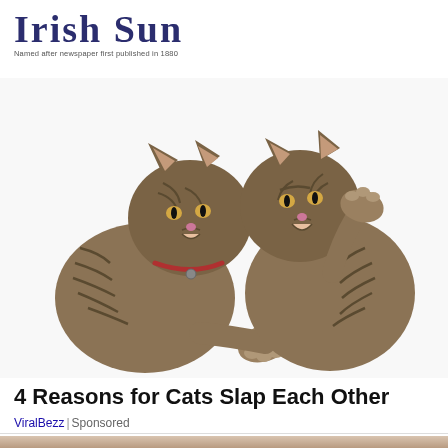IRISH SUN
Named after newspaper first published in 1880
[Figure (photo): Two tabby cats facing each other in a fighting/slapping pose against a white background. The cat on the left has a red collar and is reaching toward the other cat with its paw. The cat on the right is rearing up with its paw raised.]
4 Reasons for Cats Slap Each Other
ViralBezz | Sponsored
[Figure (photo): Partial view of a person against a dark background, showing the bottom edge of the page.]